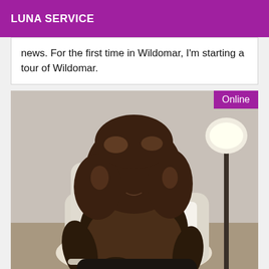LUNA SERVICE
news. For the first time in Wildomar, I'm starting a tour of Wildomar.
[Figure (photo): A woman with long curly hair sitting in a white armchair, wearing a brown top and dark pants. An 'Online' badge appears in the top-right corner of the photo.]